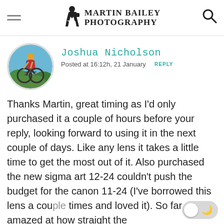Martin Bailey Photography
Joshua Nicholson
Posted at 16:12h, 21 January  REPLY
[Figure (photo): Circular avatar photo of a cyclist (mountain biker) riding through trees]
Thanks Martin, great timing as I'd only purchased it a couple of hours before your reply, looking forward to using it in the next couple of days. Like any lens it takes a little time to get the most out of it. Also purchased the new sigma art 12-24 couldn't push the budget for the canon 11-24 (I've borrowed this lens a couple times and loved it). So far amazed at how straight the